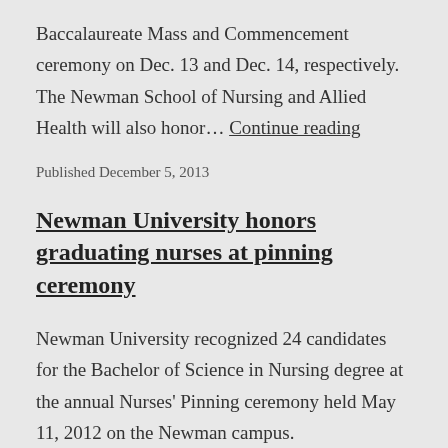Baccalaureate Mass and Commencement ceremony on Dec. 13 and Dec. 14, respectively. The Newman School of Nursing and Allied Health will also honor… Continue reading
Published December 5, 2013
Newman University honors graduating nurses at pinning ceremony
Newman University recognized 24 candidates for the Bachelor of Science in Nursing degree at the annual Nurses' Pinning ceremony held May 11, 2012 on the Newman campus.